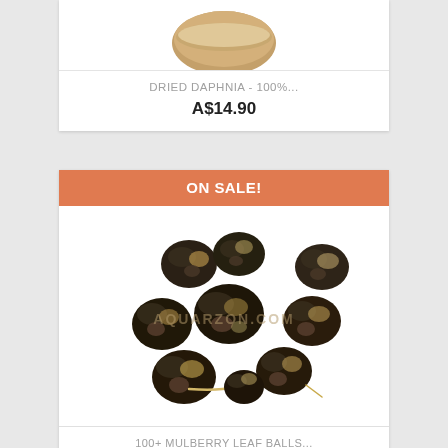[Figure (photo): Partial product image of Dried Daphnia, showing a round container at the top, cut off at the top of the frame]
DRIED DAPHNIA - 100%...
A$14.90
ON SALE!
[Figure (photo): Photo of multiple dried mulberry leaf balls — dark brown/black rounded clumps on a white background with AQUARZON.COM watermark]
100+ MULBERRY LEAF BALLS...